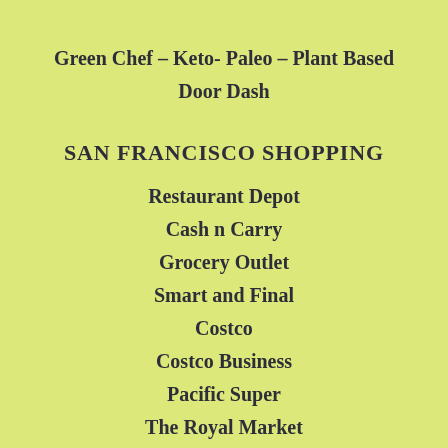Green Chef – Keto- Paleo – Plant Based
Door Dash
SAN FRANCISCO SHOPPING
Restaurant Depot
Cash n Carry
Grocery Outlet
Smart and Final
Costco
Costco Business
Pacific Super
The Royal Market